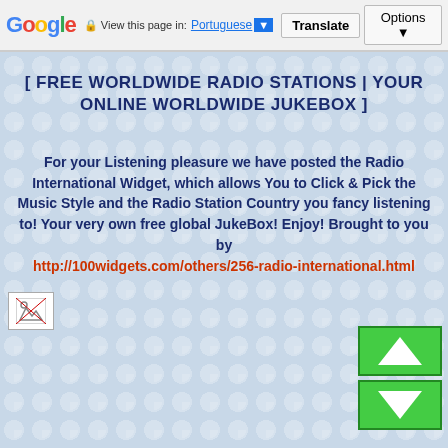Google | View this page in: Portuguese ▼ | Translate | Options ▼
[ FREE WORLDWIDE RADIO STATIONS | YOUR ONLINE WORLDWIDE JUKEBOX ]
For your Listening pleasure we have posted the Radio International Widget, which allows You to Click & Pick the Music Style and the Radio Station Country you fancy listening to! Your very own free global JukeBox! Enjoy! Brought to you by http://100widgets.com/others/256-radio-international.html
[Figure (other): Broken image placeholder icon in bottom-left of content area]
[Figure (other): Green scroll-up button with upward arrow triangle]
[Figure (other): Green scroll-down button with downward arrow triangle]